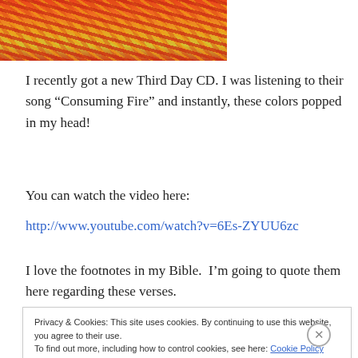[Figure (photo): Cropped top portion of a colorful yarn skein with red, orange, yellow, and gold colors]
I recently got a new Third Day CD. I was listening to their song “Consuming Fire” and instantly, these colors popped in my head!
You can watch the video here:
http://www.youtube.com/watch?v=6Es-ZYUU6zc
I love the footnotes in my Bible.  I’m going to quote them here regarding these verses.
Privacy & Cookies: This site uses cookies. By continuing to use this website, you agree to their use.
To find out more, including how to control cookies, see here: Cookie Policy